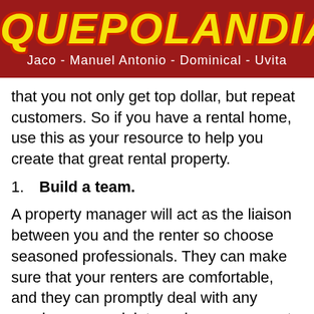QUEPOLANDIA - Jaco - Manuel Antonio - Dominical - Uvita
that you not only get top dollar, but repeat customers. So if you have a rental home, use this as your resource to help you create that great rental property.
1. Build a team.
A property manager will act as the liaison between you and the renter so choose seasoned professionals. They can make sure that your renters are comfortable, and they can promptly deal with any queries or complaints and ensure a great renter experience. They can also encourage good online reviews from